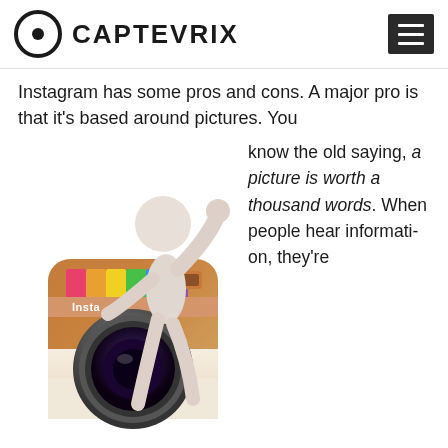CAPTEVRIX
Instagram has some pros and cons. A major pro is that it’s based around pictures. You know the old saying, a picture is worth a thousand words. When people hear information, they’re
[Figure (illustration): A 3D white stick figure character leaning against an Instagram camera logo icon, with 'Insta' visible on the camera.]